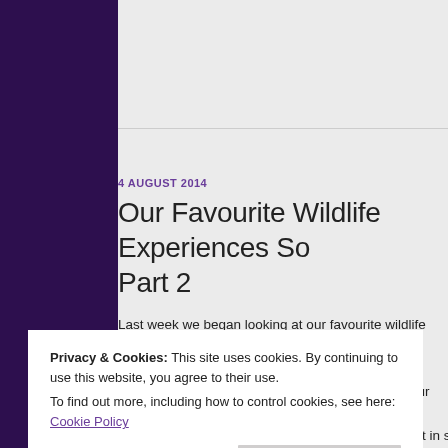4 AUGUST 2014
Our Favourite Wildlife Experiences So... Part 2
Last week we began looking at our favourite wildlife experiences around the world, if you missed part one you can catch up by clicking here.
This week we round out our list with five more of our best experiences around the world.
Privacy & Cookies: This site uses cookies. By continuing to use this website, you agree to their use. To find out more, including how to control cookies, see here: Cookie Policy
Close and accept